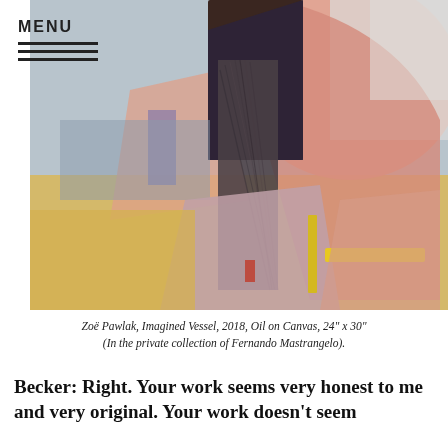MENU
[Figure (illustration): Abstract oil painting by Zoë Pawlak titled 'Imagined Vessel', 2018. Shows abstract geometric forms in pink, mauve, dark brown/black, grey-blue, and yellow on canvas. A tall central dark vertical form with charcoal-like texture against pink and muted tones, with yellow horizontal accent near the bottom.]
Zoë Pawlak, Imagined Vessel, 2018, Oil on Canvas, 24" x 30" (In the private collection of Fernando Mastrangelo).
Becker: Right. Your work seems very honest to me and very original. Your work doesn't seem